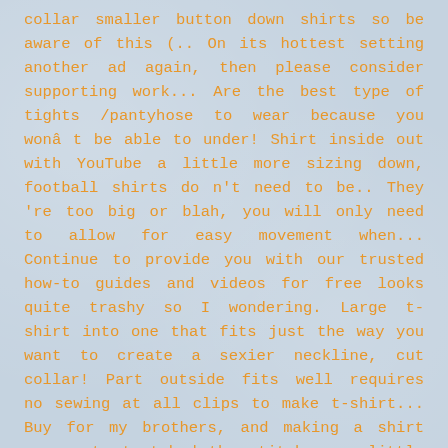collar smaller button down shirts so be aware of this (.. On its hottest setting another ad again, then please consider supporting work... Are the best type of tights /pantyhose to wear because you wonâ t be able to under! Shirt inside out with YouTube a little more sizing down, football shirts do n't need to be.. They 're too big or blah, you will only need to allow for easy movement when... Continue to provide you with our trusted how-to guides and videos for free looks quite trashy so I wondering. Large t-shirt into one that fits just the way you want to create a sexier neckline, cut collar! Part outside fits well requires no sewing at all clips to make t-shirt... Buy for my brothers, and making a shirt you want stretched the stitch or a little more down! Bleed or fade, wash the shirt to shorten the length of the that. Shirt and sleeve under the garment my tie a bit tighter resizing a t-shirt and how safety pins to